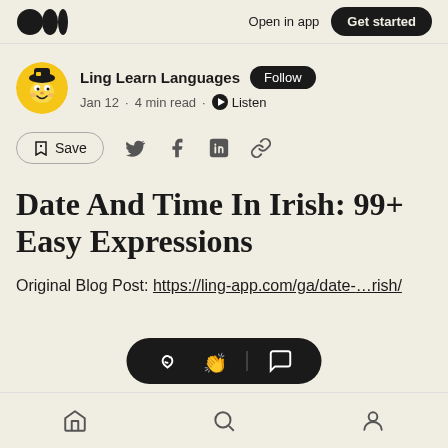Open in app  Get started
Ling Learn Languages · Follow
Jan 12 · 4 min read · Listen
Save
Date And Time In Irish: 99+ Easy Expressions
Original Blog Post: https://ling-app.com/ga/date-...-rish/
Home  Search  Profile